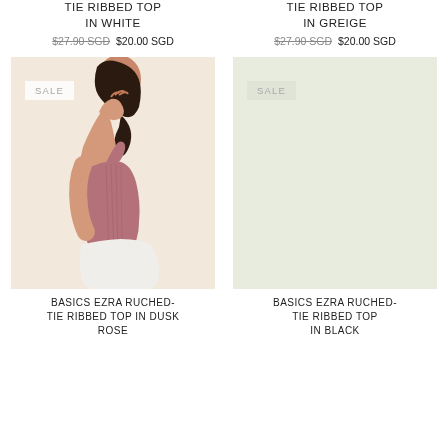TIE RIBBED TOP IN WHITE
$27.90 SGD  $20.00 SGD
TIE RIBBED TOP IN GREIGE
$27.90 SGD  $20.00 SGD
[Figure (photo): Model wearing a dusty rose ruched-tie ribbed crop top with white pants, side profile view, SALE badge in top left]
[Figure (photo): Empty product image placeholder with SALE badge, light greenish-grey background]
BASICS EZRA RUCHED-TIE RIBBED TOP IN DUSK ROSE
BASICS EZRA RUCHED-TIE RIBBED TOP IN BLACK